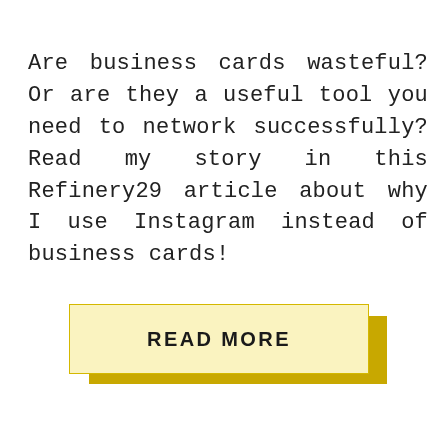Are business cards wasteful? Or are they a useful tool you need to network successfully? Read my story in this Refinery29 article about why I use Instagram instead of business cards!
READ MORE